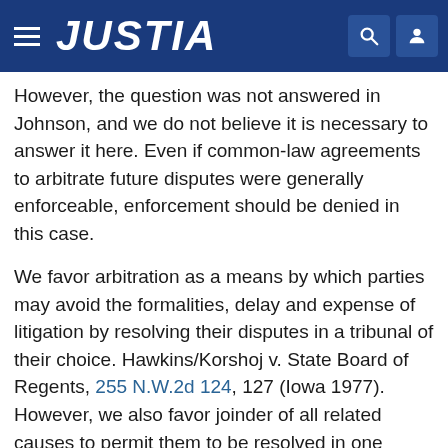JUSTIA
However, the question was not answered in Johnson, and we do not believe it is necessary to answer it here. Even if common-law agreements to arbitrate future disputes were generally enforceable, enforcement should be denied in this case.
We favor arbitration as a means by which parties may avoid the formalities, delay and expense of litigation by resolving their disputes in a tribunal of their choice. Hawkins/Korshoj v. State Board of Regents, 255 N.W.2d 124, 127 (Iowa 1977). However, we also favor joinder of all related causes to permit them to be resolved in one forum at one time. This policy is reflected in our rules of civil procedure. See Mauer v. Rohde, 257 N.W.2d 489, 494 (Iowa 1977) (Iowa R.Civ.P. 24(a)); Lucas v. Pioneer, Inc., 256 N.W.2d 167, 174-75 (Iowa 1977) (Iowa R.Civ.P. 42); Ambrose v. Harrison Mutual Insurance Association, 206